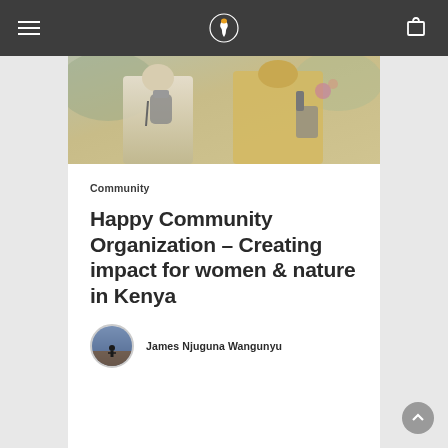Navigation bar with hamburger menu, logo, and bag icon
[Figure (photo): Close-up photo of people in traditional/ceremonial clothing, one holding what appears to be a metal container or instrument]
Community
Happy Community Organization – Creating impact for women & nature in Kenya
James Njuguna Wangunyu